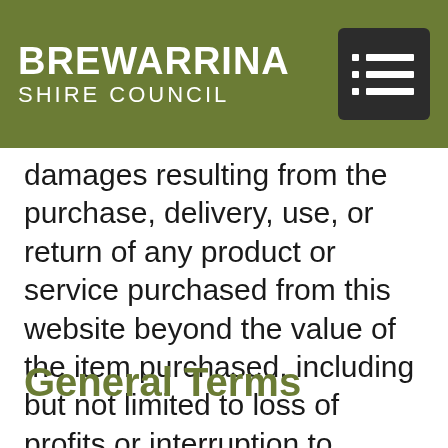[Figure (logo): Brewarrina Shire Council logo with olive green header bar and hamburger menu icon]
damages resulting from the purchase, delivery, use, or return of any product or service purchased from this website beyond the value of the item purchased, including but not limited to loss of profits or interruption to business.
General Terms